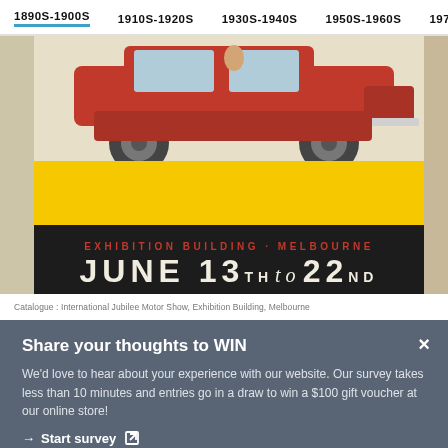1890S-1900S  1910S-1920S  1930S-1940S  1950S-1960S  1970S-
[Figure (photo): Vintage poster showing a red car with a woman passenger, yellow background below, dark section at bottom with text: 'EXHIBITION BUILDING · MELBOURNE' in red and 'JUNE 13TH to 22ND' in large white letters]
Catalogue : International Jubilee Motor Show, Exhibition Building, Melbourne
Share your thoughts to WIN
We'd love to hear about your experience with our website. Our survey takes less than 10 minutes and entries go in a draw to win a $100 gift voucher at our online store!
→  Start survey ↗